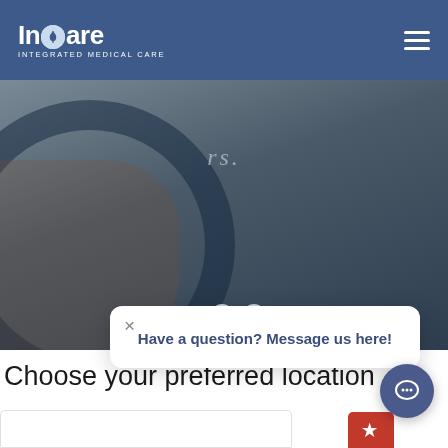InCare INTEGRATED MEDICAL CARE
[Figure (photo): Hero banner with dark background, partial text 'rs.' visible and circular graphic element, with three slider indicator dots]
Have a question? Message us here!
Choose your preferred location